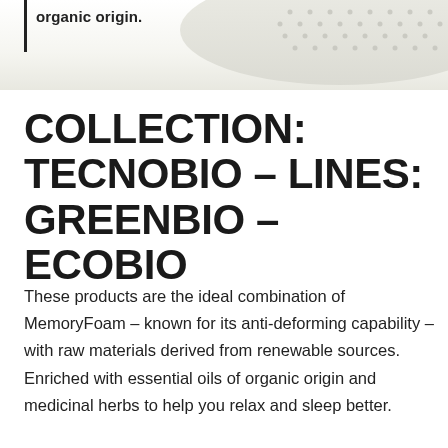[Figure (photo): Top portion of a memory foam pillow with small perforations, shown against a light background. Partial view cropped at top of page.]
organic origin.
COLLECTION: TECNOBIO – LINES: GREENBIO – ECOBIO
These products are the ideal combination of MemoryFoam – known for its anti-deforming capability – with raw materials derived from renewable sources. Enriched with essential oils of organic origin and medicinal herbs to help you relax and sleep better.